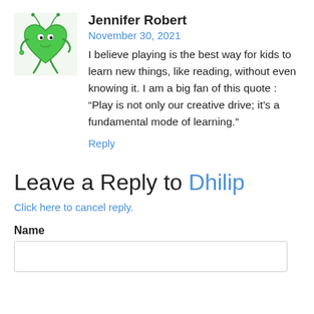[Figure (illustration): Green cartoon heart-shaped character with antennae and limbs, holding something, with wide eyes]
Jennifer Robert
November 30, 2021
I believe playing is the best way for kids to learn new things, like reading, without even knowing it. I am a big fan of this quote : “Play is not only our creative drive; it’s a fundamental mode of learning.”
Reply
Leave a Reply to Dhilip
Click here to cancel reply.
Name